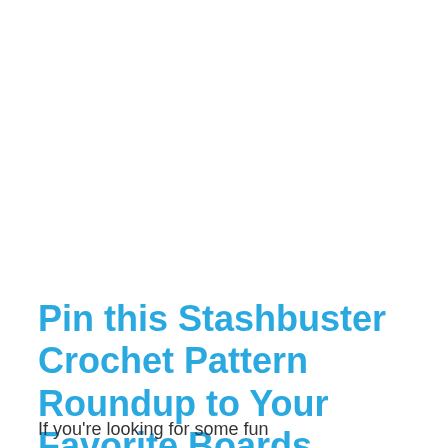Pin this Stashbuster Crochet Pattern Roundup to Your Favorite Boards
If you're looking for some fun